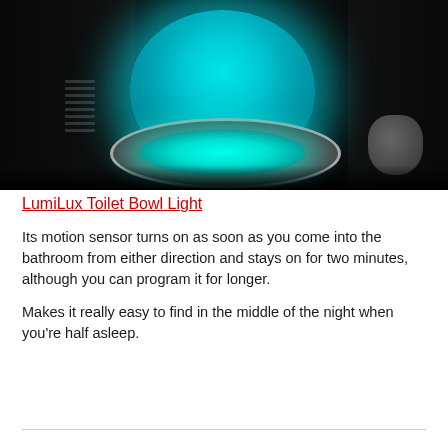[Figure (photo): A dark bathroom at night with a toilet glowing cyan/teal blue from a motion-activated light inside the bowl. The toilet seat lid is open showing the blue glow illuminating the bowl and surrounding area.]
LumiLux Toilet Bowl Light
Its motion sensor turns on as soon as you come into the bathroom from either direction and stays on for two minutes, although you can program it for longer.
Makes it really easy to find in the middle of the night when you're half asleep.